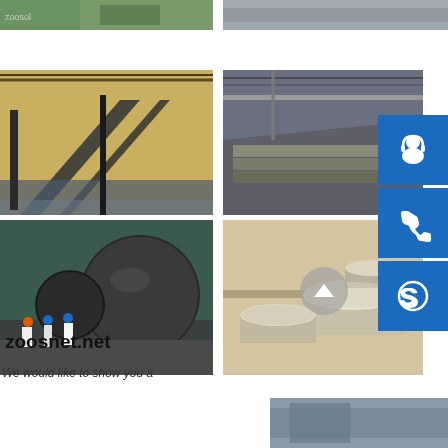[Figure (photo): Partial top-left industrial/factory photo, top edge cropped]
[Figure (photo): Partial top-right industrial photo, top edge cropped]
[Figure (photo): Factory floor with large steel structural frame components]
[Figure (photo): Factory floor with steel plate or beam materials]
[Figure (photo): Workers near large cylindrical vessel in industrial facility]
[Figure (photo): Aerial view of large cylindrical storage tanks at industrial site]
[Figure (photo): Partial bottom-right photo, cropped]
zoosnet.net
We would like to show you a